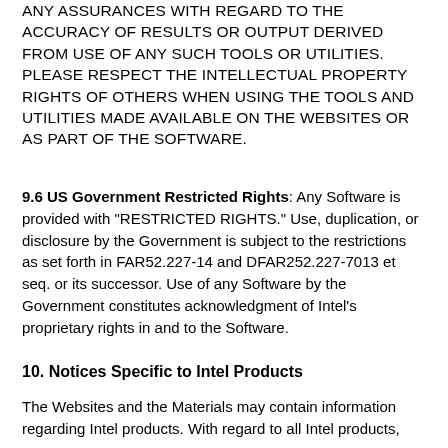WEBSITES OR THE SOFTWARE DOES NOT MAKE ANY ASSURANCES WITH REGARD TO THE ACCURACY OF RESULTS OR OUTPUT DERIVED FROM USE OF ANY SUCH TOOLS OR UTILITIES. PLEASE RESPECT THE INTELLECTUAL PROPERTY RIGHTS OF OTHERS WHEN USING THE TOOLS AND UTILITIES MADE AVAILABLE ON THE WEBSITES OR AS PART OF THE SOFTWARE.
9.6 US Government Restricted Rights: Any Software is provided with "RESTRICTED RIGHTS." Use, duplication, or disclosure by the Government is subject to the restrictions as set forth in FAR52.227-14 and DFAR252.227-7013 et seq. or its successor. Use of any Software by the Government constitutes acknowledgment of Intel's proprietary rights in and to the Software.
10. Notices Specific to Intel Products
The Websites and the Materials may contain information regarding Intel products. With regard to all Intel products,